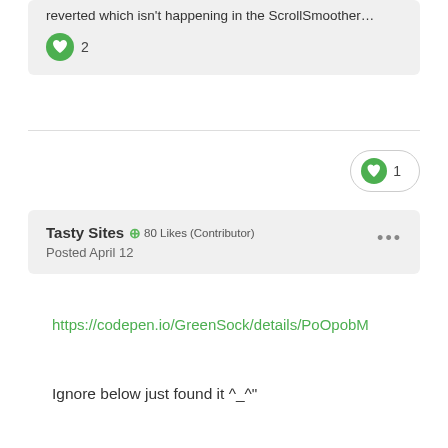reverted which isn't happening in the ScrollSmoother…
2
1
Tasty Sites + 80 Likes (Contributor)
Posted April 12
https://codepen.io/GreenSock/details/PoOpobM
Ignore below just found it ^_^"